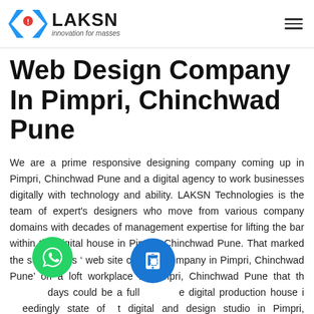[Figure (logo): LAKSN Technologies logo with chevron/angular bracket icon in blue, red exclamation mark, and text 'LAKSN innovation for masses']
Web Design Company In Pimpri, Chinchwad Pune
We are a prime responsive designing company coming up in Pimpri, Chinchwad Pune and a digital agency to work businesses digitally with technology and ability. LAKSN Technologies is the team of expert's designers who move from various company domains with decades of management expertise for lifting the bar within the digital house in Pimpri, Chinchwad Pune. That marked the start of this ' web site creating company in Pimpri, Chinchwad Pune' on a loft workplace in Pimpri, Chinchwad Pune that the days could be a full digital production house in exceedingly state of art digital and design studio in Pimpri, Chinchwad Pune,Thane.